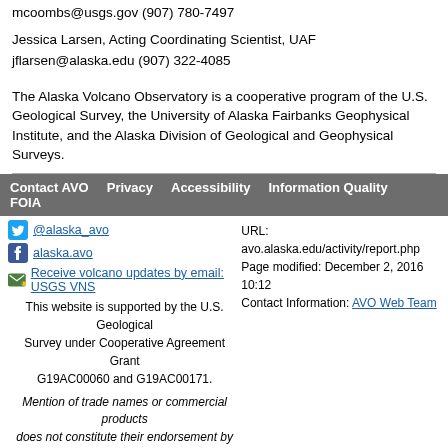mcoombs@usgs.gov (907) 780-7497
Jessica Larsen, Acting Coordinating Scientist, UAF
jflarsen@alaska.edu (907) 322-4085
The Alaska Volcano Observatory is a cooperative program of the U.S. Geological Survey, the University of Alaska Fairbanks Geophysical Institute, and the Alaska Division of Geological and Geophysical Surveys.
Contact AVO   Privacy   Accessibility   Information Quality   FOIA
@alaska_avo
alaska.avo
Receive volcano updates by email: USGS VNS
URL: avo.alaska.edu/activity/report.php
Page modified: December 2, 2016 10:12
Contact Information: AVO Web Team
This website is supported by the U.S. Geological Survey under Cooperative Agreement Grant G19AC00060 and G19AC00171.
Mention of trade names or commercial products does not constitute their endorsement by the U.S. Geological Survey.